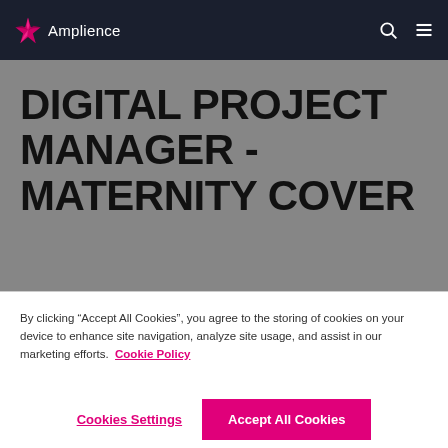Amplience
DIGITAL PROJECT MANAGER - MATERNITY COVER
By clicking “Accept All Cookies”, you agree to the storing of cookies on your device to enhance site navigation, analyze site usage, and assist in our marketing efforts. Cookie Policy
Cookies Settings
Accept All Cookies